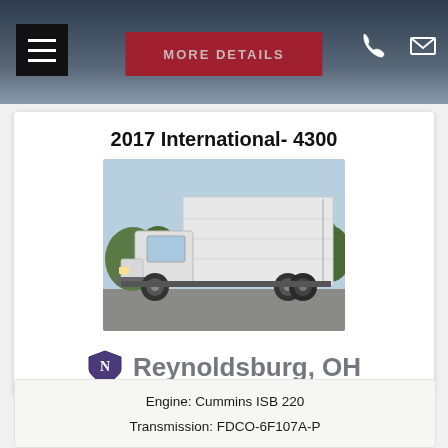MORE DETAILS
2017 International- 4300
[Figure (photo): White 2017 International 4300 box truck with large cargo box, photographed in a parking lot with trees in background]
Reynoldsburg, OH
Engine: Cummins ISB 220
Transmission: FDCO-6F107A-P